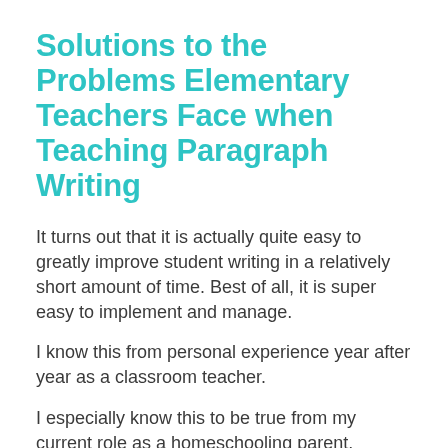Solutions to the Problems Elementary Teachers Face when Teaching Paragraph Writing
It turns out that it is actually quite easy to greatly improve student writing in a relatively short amount of time. Best of all, it is super easy to implement and manage.
I know this from personal experience year after year as a classroom teacher.
I especially know this to be true from my current role as a homeschooling parent.
Speaking of which, if the fact that I have elected to use this tried and true system to teach my own children is not proof of how